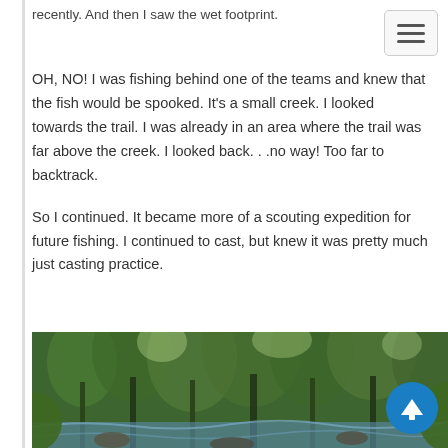recently. And then I saw the wet footprint.
OH, NO! I was fishing behind one of the teams and knew that the fish would be spooked. It’s a small creek. I looked towards the trail. I was already in an area where the trail was far above the creek. I looked back…no way! Too far to backtrack.
So I continued. It became more of a scouting expedition for future fishing. I continued to cast, but knew it was pretty much just casting practice.
[Figure (photo): A forest creek scene with dense green trees and foliage surrounding a stream, viewed from water level.]